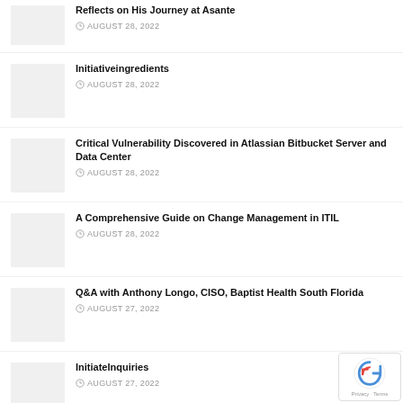Reflects on His Journey at Asante
AUGUST 28, 2022
Initiativeingredients
AUGUST 28, 2022
Critical Vulnerability Discovered in Atlassian Bitbucket Server and Data Center
AUGUST 28, 2022
A Comprehensive Guide on Change Management in ITIL
AUGUST 28, 2022
Q&A with Anthony Longo, CISO, Baptist Health South Florida
AUGUST 27, 2022
InitiateInquiries
AUGUST 27, 2022